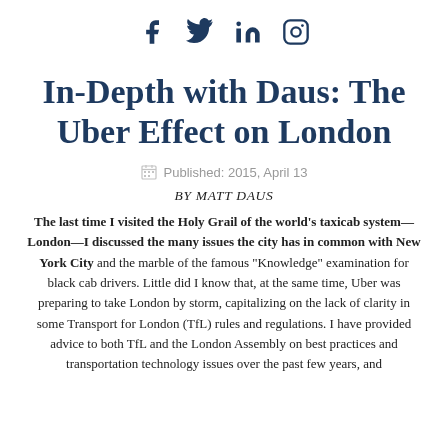[Social media icons: Facebook, Twitter, LinkedIn, Instagram]
In-Depth with Daus: The Uber Effect on London
Published: 2015, April 13
BY MATT DAUS
The last time I visited the Holy Grail of the world's taxicab system—London—I discussed the many issues the city has in common with New York City and the marble of the famous "Knowledge" examination for black cab drivers. Little did I know that, at the same time, Uber was preparing to take London by storm, capitalizing on the lack of clarity in some Transport for London (TfL) rules and regulations. I have provided advice to both TfL and the London Assembly on best practices and transportation technology issues over the past few years, and